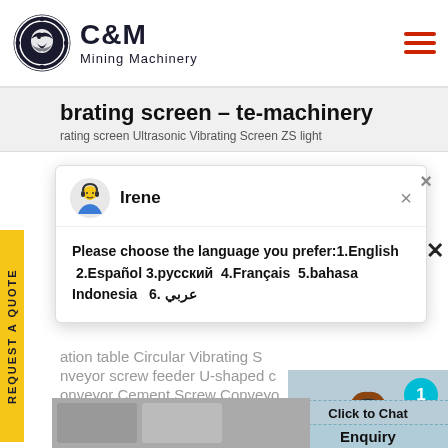[Figure (logo): C&M Mining Machinery logo with eagle in gear circle]
vibrating screen - te-machinery
rating screen Ultrasonic Vibrating Screen ZS light
[Figure (screenshot): Chat popup with avatar of Irene (headset lady) and language selection message: Please choose the language you prefer:1.English 2.Español 3.русский 4.Français 5.bahasa Indonesia 6. عربي]
ation table Circular Vibrating S
nveyor screw feeder U-shaped c
onveyor Cement Screw Conveyo
nveyor; Bucket
[Figure (photo): Customer service representative with headset, smiling, with teal notification badge showing 1]
Click to Chat
Enquiry
[Figure (photo): Product photo bottom left, partially visible]